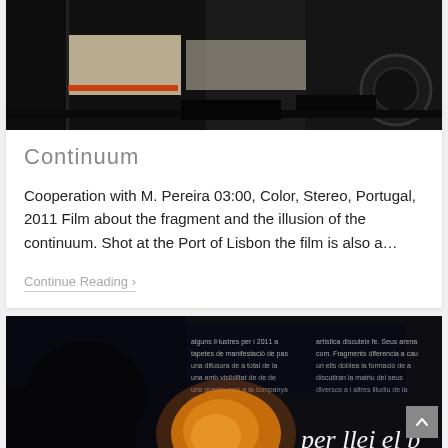[Figure (photo): Dark industrial/port scene showing vehicle undercarriage or machinery with black and white tones]
Continuum
Cooperation with M. Pereira 03:00, Color, Stereo, Portugal, 2011 Film about the fragment and the illusion of the continuum. Shot at the Port of Lisbon the film is also a…
Continue Reading ›
[Figure (photo): Dark background image with text in multiple languages and a blurred orange/yellow flower or object in foreground, with text 'per llei el b' and 'neus a Cisjo' visible]